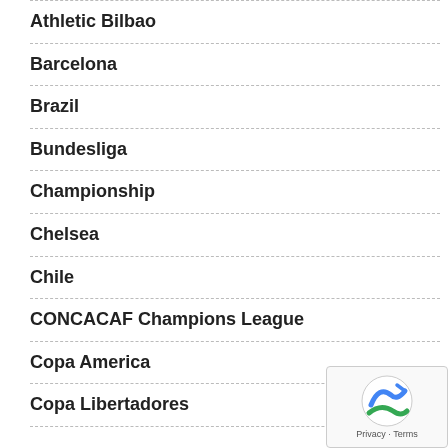Athletic Bilbao
Barcelona
Brazil
Bundesliga
Championship
Chelsea
Chile
CONCACAF Champions League
Copa America
Copa Libertadores